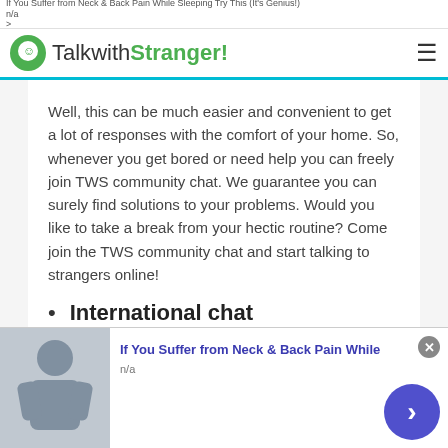If You Suffer from Neck & Back Pain While Sleeping Try This (It's Genius!)
n/a
>
TalkwithStranger!
Well, this can be much easier and convenient to get a lot of responses with the comfort of your home. So, whenever you get bored or need help you can freely join TWS community chat. We guarantee you can surely find solutions to your problems. Would you like to take a break from your hectic routine? Come join the TWS community chat and start talking to strangers online!
International chat
[Figure (screenshot): Advertisement image showing a person with neck/back pain]
If You Suffer from Neck & Back Pain While
n/a